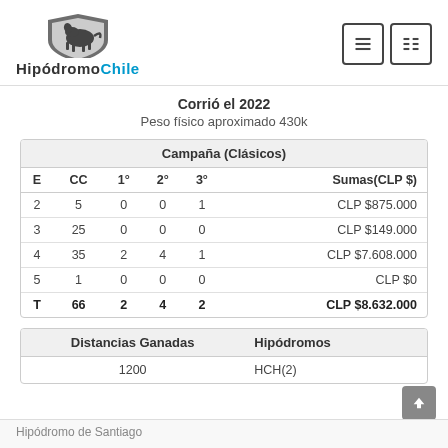HipódromoChile — navigation header with logo and menu icons
Corrió el 2022
Peso físico aproximado 430k
| ['Campaña (Clásicos)'] | ['E', 'CC', '1°', '2°', '3°', 'Sumas(CLP $)'] |
| --- | --- |
| 2 | 5 | 0 | 0 | 1 | CLP $875.000 |
| 3 | 25 | 0 | 0 | 0 | CLP $149.000 |
| 4 | 35 | 2 | 4 | 1 | CLP $7.608.000 |
| 5 | 1 | 0 | 0 | 0 | CLP $0 |
| T | 66 | 2 | 4 | 2 | CLP $8.632.000 |
| Distancias Ganadas | Hipódromos |
| --- | --- |
| 1200 | HCH(2) |
Hipódromo de Santiago — footer